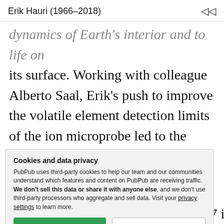Erik Hauri (1966-2018)
dynamics of Earth's interior and to life on its surface. Working with colleague Alberto Saal, Erik's push to improve the volatile element detection limits of the ion microprobe led to the ability to detect water in what were previously believed to be "bone dry" volcanic rocks from the Moon. This discovery drove new wide-
Cookies and data privacy
PubPub uses third-party cookies to help our team and our communities understand which features and content on PubPub are receiving traffic. We don't sell this data or share it with anyone else, and we don't use third-party processors who aggregate and sell data. Visit your privacy settings to learn more.
Moon's water was highlighted as #47 in